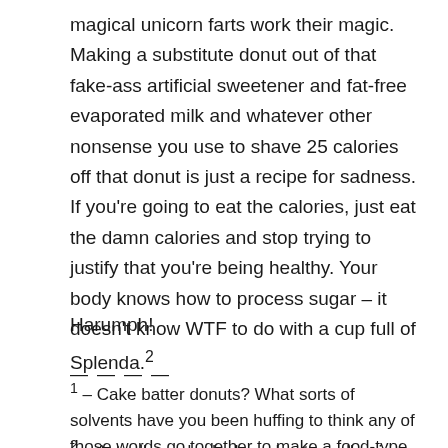magical unicorn farts work their magic. Making a substitute donut out of that fake-ass artificial sweetener and fat-free evaporated milk and whatever other nonsense you use to shave 25 calories off that donut is just a recipe for sadness. If you're going to eat the calories, just eat the damn calories and stop trying to justify that you're being healthy. Your body knows how to process sugar – it doesn't know WTF to do with a cup full of Splenda.²
Harumph!
— — — —
1 – Cake batter donuts? What sorts of solvents have you been huffing to think any of those words go together to make a food-type product?
2 – Actually my body does; I got an allergic reaction!